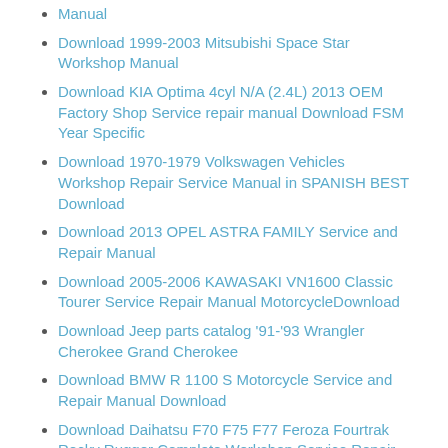Download 1999-2003 Mitsubishi Space Star Workshop Manual
Download KIA Optima 4cyl N/A (2.4L) 2013 OEM Factory Shop Service repair manual Download FSM Year Specific
Download 1970-1979 Volkswagen Vehicles Workshop Repair Service Manual in SPANISH BEST Download
Download 2013 OPEL ASTRA FAMILY Service and Repair Manual
Download 2005-2006 KAWASAKI VN1600 Classic Tourer Service Repair Manual MotorcycleDownload
Download Jeep parts catalog '91-'93 Wrangler Cherokee Grand Cherokee
Download BMW R 1100 S Motorcycle Service and Repair Manual Download
Download Daihatsu F70 F75 F77 Feroza Fourtrak Rocky Rugger Complete Workshop Service Repair Manual 1984 1985 1986 1987 1988 1989 1990 199
Download ROVER MG 214 414 Workshop Repair Manual Download 1989-1992
Download Ford Festiva 1991 Workshop Repair & Service Manual [COMPLETE & INFORMATIVE for Repair] & #973